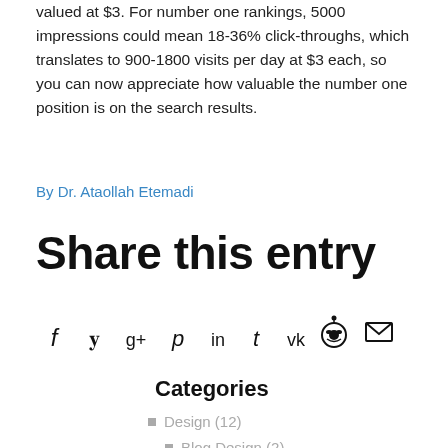valued at $3. For number one rankings, 5000 impressions could mean 18-36% click-throughs, which translates to 900-1800 visits per day at $3 each, so you can now appreciate how valuable the number one position is on the search results.
By Dr. Ataollah Etemadi
Share this entry
[Figure (infographic): Row of social media sharing icons: Facebook (f), Twitter (bird/y), Google+ (g+), Pinterest (p), LinkedIn (in), Tumblr (t), VK (vk), Reddit (alien), Email (envelope)]
Categories
Design (12)
Blog Design (2)